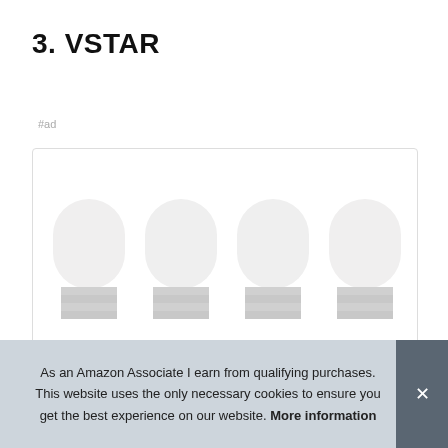3. VSTAR
#ad
[Figure (photo): Four white LED light bulbs with screw bases shown from the front, arranged side by side inside a bordered product listing box.]
As an Amazon Associate I earn from qualifying purchases. This website uses the only necessary cookies to ensure you get the best experience on our website. More information